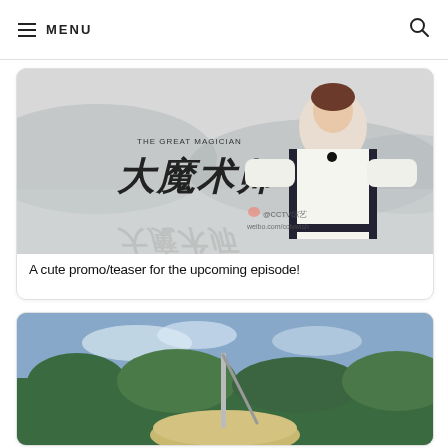MENU
[Figure (screenshot): Promo image for 'The Great Magician' (大魔术师) Chinese TV show, showing a young woman in traditional white embroidered costume against a misty mountain lake backdrop, with Chinese characters and show title text, watermarked @CCTV综艺 weibo.com/cctvwish]
A cute promo/teaser for the upcoming episode!
[Figure (photo): Outdoor photo showing a sundial or stone disc with a vertical rod/gnomon, set against blue sky with trees in the background]